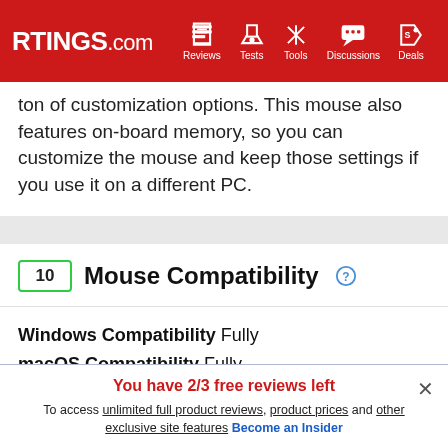RTINGS.com | Reviews | Tests | Tools | Discussions | Deals
ton of customization options. This mouse also features on-board memory, so you can customize the mouse and keep those settings if you use it on a different PC.
10 Mouse Compatibility
Windows Compatibility  Fully
macOS Compatibility  Fully
Since the companion software can be installed on
You have 2/3 free reviews left
To access unlimited full product reviews, product prices and other exclusive site features Become an Insider